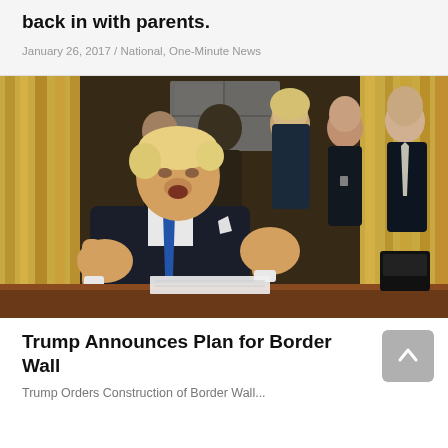back in with parents.
January 26, 2017 / National, One-Minute News
[Figure (photo): President Trump seated at the Oval Office desk, speaking with hands raised gesturing, surrounded by several advisors and staff including Reince Priebus, Kellyanne Conway, and Jared Kushner standing behind him. Gold curtains visible in background.]
Trump Announces Plan for Border Wall
Trump Orders Construction of Border Wall...